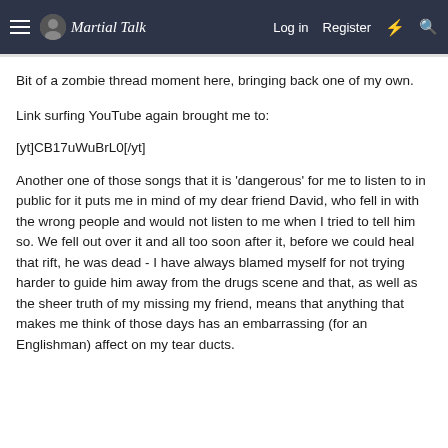Martial Talk — Log in  Register
Bit of a zombie thread moment here, bringing back one of my own.
Link surfing YouTube again brought me to:
[yt]CB17uWuBrL0[/yt]
Another one of those songs that it is 'dangerous' for me to listen to in public for it puts me in mind of my dear friend David, who fell in with the wrong people and would not listen to me when I tried to tell him so. We fell out over it and all too soon after it, before we could heal that rift, he was dead - I have always blamed myself for not trying harder to guide him away from the drugs scene and that, as well as the sheer truth of my missing my friend, means that anything that makes me think of those days has an embarrassing (for an Englishman) affect on my tear ducts.